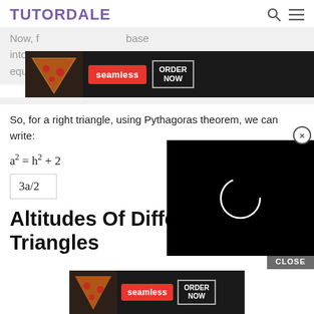TUTORDALE
[Figure (other): Seamless food delivery advertisement banner with pizza image, red seamless logo, and ORDER NOW button]
Now, f... base into eq... o equivalent right-angled triangles.
So, for a right triangle, using Pythagoras theorem, we can write:
[Figure (other): Black video player overlay with circular loading spinner]
Altitudes Of Different Triangles
[Figure (other): Seamless food delivery advertisement banner at bottom with pizza image, red seamless logo, and ORDER NOW button]